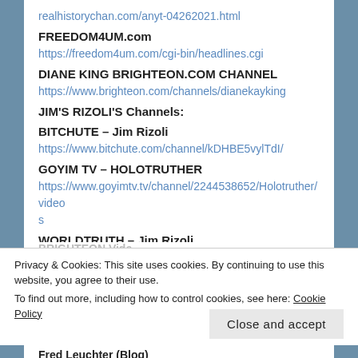realhistorychan.com/anyt-04262021.html
FREEDOM4UM.com
https://freedom4um.com/cgi-bin/headlines.cgi
DIANE KING BRIGHTEON.COM CHANNEL
https://www.brighteon.com/channels/dianekayking
JIM'S RIZOLI'S Channels:
BITCHUTE – Jim Rizoli
https://www.bitchute.com/channel/kDHBE5vylTdI/
GOYIM TV – HOLOTRUTHER
https://www.goyimtv.tv/channel/2244538652/Holotruther/videos
WORLDTRUTH – Jim Rizoli
https://worldtruthvideos.org/@JimRizoli
BRIGHTEON – RizoliTV
https://www.brighteon.com/channels/jimrizoli
Privacy & Cookies: This site uses cookies. By continuing to use this website, you agree to their use.
To find out more, including how to control cookies, see here: Cookie Policy
Close and accept
Fred Leuchter (Blog)